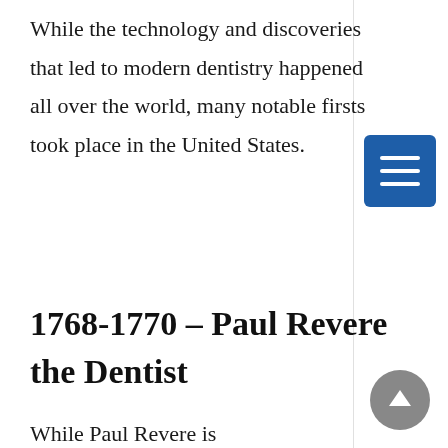While the technology and discoveries that led to modern dentistry happened all over the world, many notable firsts took place in the United States.
1768-1770 – Paul Revere the Dentist
While Paul Revere is